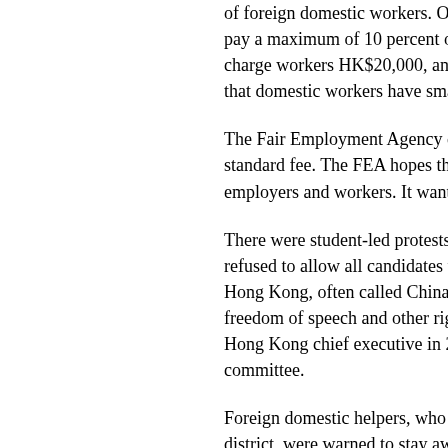of foreign domestic workers. Once domestic workers pay a maximum of 10 percent of their first month's salary, charge workers HK$20,000, and often lend the that domestic workers have small net earnings.
The Fair Employment Agency charges employers a standard fee. The FEA hopes that it can show employers and workers. It wants to expand and
There were student-led protests in Hong Kong refused to allow all candidates to compete in the Hong Kong, often called China's financial window freedom of speech and other rights in the one-country, Hong Kong chief executive in 2017 must be nominated by a committee.
Foreign domestic helpers, who often congregate in the district, were warned to stay away from so-called deportation.
Taiwan. There were 713,000 foreigners living in migrant workers. Most were from Southeast Asia: Indonesian, 26 percent from Vietnam, and 19 percent wage will rise from NT$19,047 a month to NT$20
The Ministry of Labor in September 2014 announced to return to their home countries every three years